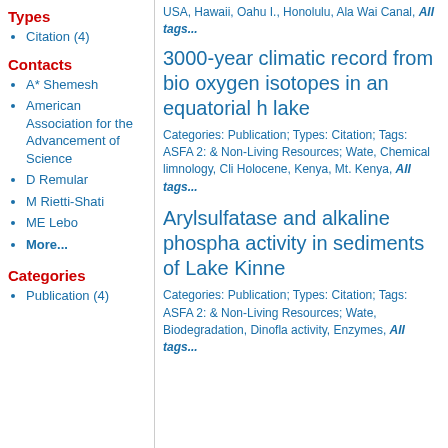USA, Hawaii, Oahu I., Honolulu, Ala Wai Canal, All tags...
Types
Citation (4)
Contacts
A* Shemesh
American Association for the Advancement of Science
D Remular
M Rietti-Shati
ME Lebo
More...
Categories
Publication (4)
3000-year climatic record from bio oxygen isotopes in an equatorial h lake
Categories: Publication; Types: Citation; Tags: ASFA 2: & Non-Living Resources; Wate, Chemical limnology, Cli Holocene, Kenya, Mt. Kenya, All tags...
Arylsulfatase and alkaline phospha activity in sediments of Lake Kinne
Categories: Publication; Types: Citation; Tags: ASFA 2: & Non-Living Resources; Wate, Biodegradation, Dinofla activity, Enzymes, All tags...